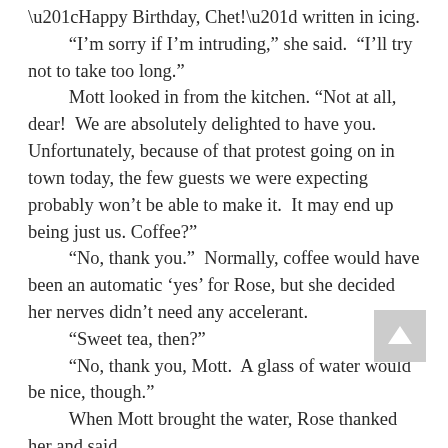“Happy Birthday, Chet!” written in icing.
“I’m sorry if I’m intruding,” she said.  “I’ll try not to take too long.”
Mott looked in from the kitchen. “Not at all, dear!  We are absolutely delighted to have you.  Unfortunately, because of that protest going on in town today, the few guests we were expecting probably won’t be able to make it.  It may end up being just us. Coffee?”
“No, thank you.”  Normally, coffee would have been an automatic ‘yes’ for Rose, but she decided her nerves didn’t need any accelerant.
“Sweet tea, then?”
“No, thank you, Mott.  A glass of water would be nice, though.”
When Mott brought the water, Rose thanked her and said